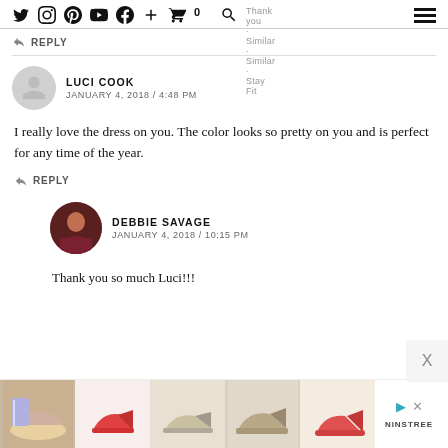Social media icons and navigation header
↩ REPLY
LUCI COOK
JANUARY 4, 2018 / 4:48 PM
I really love the dress on you. The color looks so pretty on you and is perfect for any time of the year.
↩ REPLY
DEBBIE SAVAGE
JANUARY 4, 2018 / 10:15 PM
Thank you so much Luci!!!
[Figure (screenshot): Advertisement banner with shoe product images and NINSTREE logo]